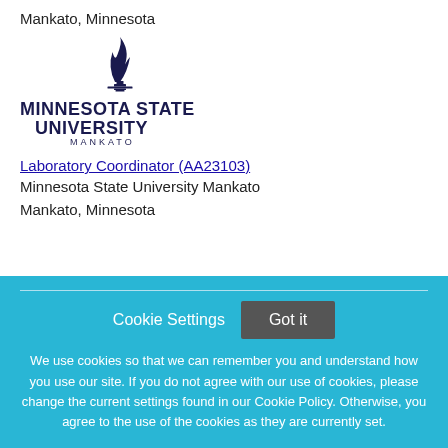Mankato, Minnesota
[Figure (logo): Minnesota State University Mankato logo with torch flame and text]
Laboratory Coordinator (AA23103)
Minnesota State University Mankato
Mankato, Minnesota
Cookie Settings  Got it
We use cookies so that we can remember you and understand how you use our site. If you do not agree with our use of cookies, please change the current settings found in our Cookie Policy. Otherwise, you agree to the use of the cookies as they are currently set.